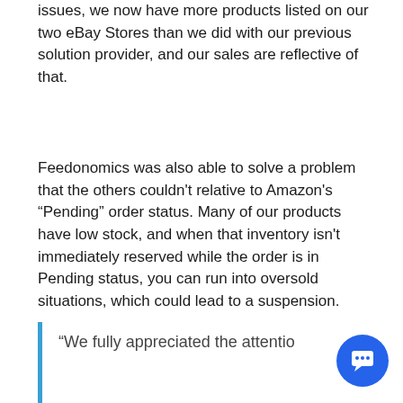issues, we now have more products listed on our two eBay Stores than we did with our previous solution provider, and our sales are reflective of that.
Feedonomics was also able to solve a problem that the others couldn't relative to Amazon's “Pending” order status. Many of our products have low stock, and when that inventory isn't immediately reserved while the order is in Pending status, you can run into oversold situations, which could lead to a suspension.
“We fully appreciated the attentio... to detail from the Feedonomics...